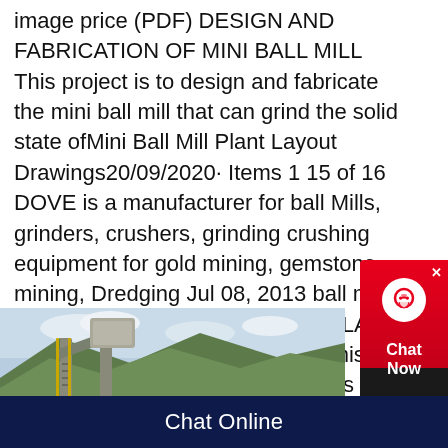image price (PDF) DESIGN AND FABRICATION OF MINI BALL MILL This project is to design and fabricate the mini ball mill that can grind the solid state ofMini Ball Mill Plant Layout Drawings20/09/2020· Items 1 15 of 16 DOVE is a manufacturer for ball Mills, grinders, crushers, grinding crushing equipment for gold mining, gemstone mining, Dredging Jul 08, 2013 ball mill plant layout Mining CRUSHING PLANT LAYOUT AND DESIGNBall Mill This page is near miss in ball mill plants Mining Quarry Plantmini ball mill plant layout spiritueelthuisnl
[Figure (photo): Outdoor industrial mining conveyor structure with metal stairs and equipment, green forested mountains in background with cloudy sky]
• mini ball mill
Chat Online